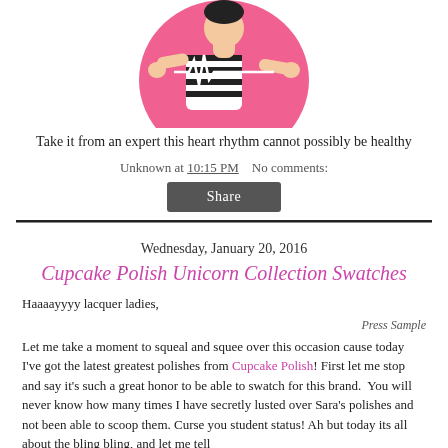[Figure (illustration): Cartoon illustration of a person in a black and white striped outfit against a pink circular background, with a heart rhythm line graphic overlay]
Take it from an expert this heart rhythm cannot possibly be healthy
Unknown at 10:15 PM    No comments:
Share
Wednesday, January 20, 2016
Cupcake Polish Unicorn Collection Swatches
Haaaayyyy lacquer ladies,
Press Sample
Let me take a moment to squeal and squee over this occasion cause today I've got the latest greatest polishes from Cupcake Polish! First let me stop and say it's such a great honor to be able to swatch for this brand.  You will never know how many times I have secretly lusted over Sara's polishes and not been able to scoop them. Curse you student status! Ah but today its all about the bling bling, and let me tell